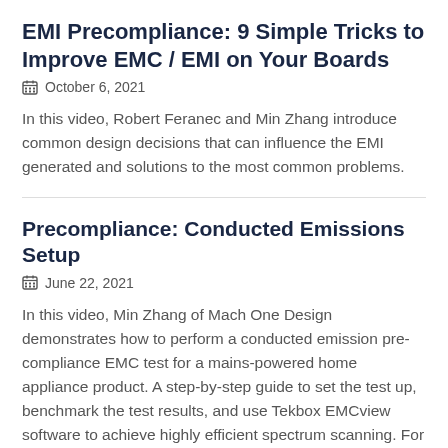EMI Precompliance: 9 Simple Tricks to Improve EMC / EMI on Your Boards
October 6, 2021
In this video, Robert Feranec and Min Zhang introduce common design decisions that can influence the EMI generated and solutions to the most common problems.
Precompliance: Conducted Emissions Setup
June 22, 2021
In this video, Min Zhang of Mach One Design demonstrates how to perform a conducted emission pre-compliance EMC test for a mains-powered home appliance product. A step-by-step guide to set the test up, benchmark the test results, and use Tekbox EMCview software to achieve highly efficient spectrum scanning. For EMC, power converter, motor drive, and